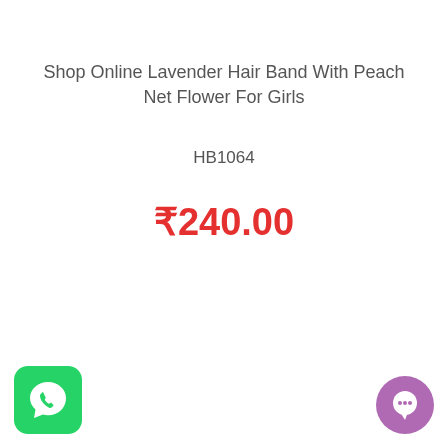Shop Online Lavender Hair Band With Peach Net Flower For Girls
HB1064
₹240.00
[Figure (logo): WhatsApp icon on green rounded square background]
[Figure (logo): Chat bubble icon on purple circle background]